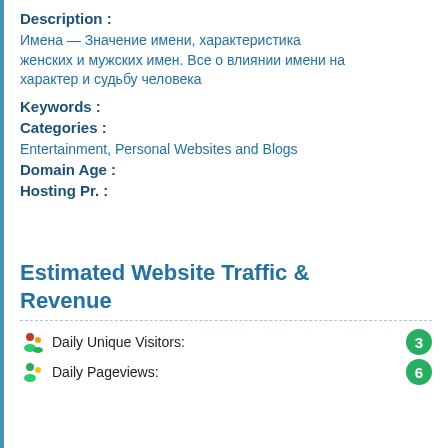Description :
Имена — Значение имени, характеристика женских и мужских имен. Все о влиянии имени на характер и судьбу человека
Keywords :
Categories :
Entertainment, Personal Websites and Blogs
Domain Age :
Hosting Pr. :
Estimated Website Traffic & Revenue
Daily Unique Visitors: 3
Daily Pageviews: 6